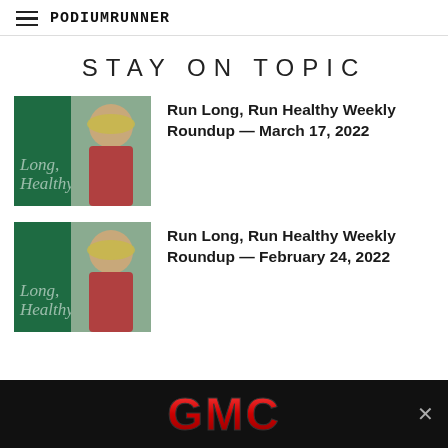PodiumRunner
STAY ON TOPIC
Run Long, Run Healthy Weekly Roundup — March 17, 2022
Run Long, Run Healthy Weekly Roundup — February 24, 2022
[Figure (logo): GMC advertisement banner with red GMC logo on black background]